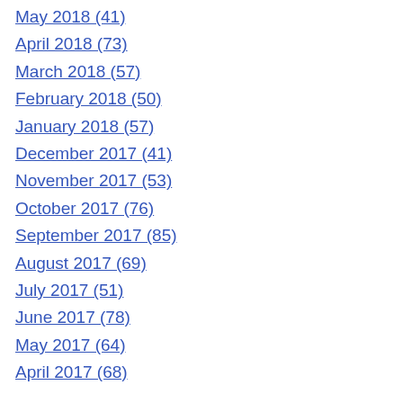May 2018 (41)
April 2018 (73)
March 2018 (57)
February 2018 (50)
January 2018 (57)
December 2017 (41)
November 2017 (53)
October 2017 (76)
September 2017 (85)
August 2017 (69)
July 2017 (51)
June 2017 (78)
May 2017 (64)
April 2017 (68)